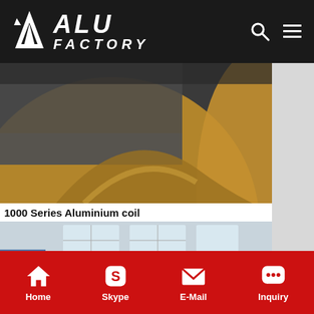ALU FACTORY
[Figure (photo): Close-up photo of large aluminium coils with gold/brown protective film wrapping, dark metallic background]
1000 Series Aluminium coil
[Figure (photo): Factory floor photo showing a worker in yellow hard hat and mask inspecting large silver aluminium coils strapped with green bands, industrial warehouse building in background]
Home  Skype  E-Mail  Inquiry